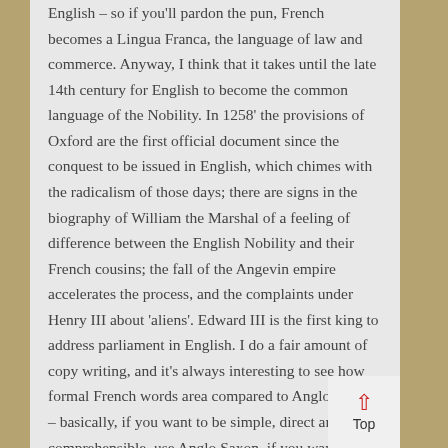English – so if you'll pardon the pun, French becomes a Lingua Franca, the language of law and commerce. Anyway, I think that it takes until the late 14th century for English to become the common language of the Nobility. In 1258' the provisions of Oxford are the first official document since the conquest to be issued in English, which chimes with the radicalism of those days; there are signs in the biography of William the Marshal of a feeling of difference between the English Nobility and their French cousins; the fall of the Angevin empire accelerates the process, and the complaints under Henry III about 'aliens'. Edward III is the first king to address parliament in English. I do a fair amount of copy writing, and it's always interesting to see how formal French words area compared to Anglo Saxon – basically, if you want to be simple, direct and comprehensible, use Anglo Saxon, if you want to impress without saying something use French. I ...